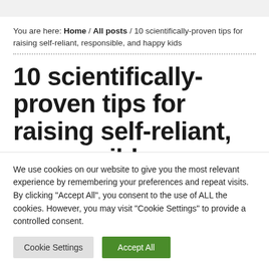You are here: Home / All posts / 10 scientifically-proven tips for raising self-reliant, responsible, and happy kids
10 scientifically-proven tips for raising self-reliant, responsible,
We use cookies on our website to give you the most relevant experience by remembering your preferences and repeat visits. By clicking "Accept All", you consent to the use of ALL the cookies. However, you may visit "Cookie Settings" to provide a controlled consent.